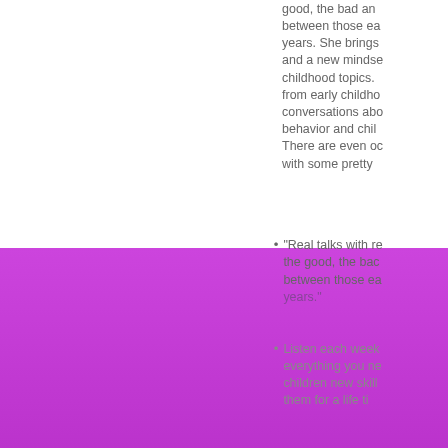good, the bad and between those early years. She brings and a new mindset childhood topics. from early childhood conversations about behavior and child. There are even oc with some pretty
"Real talks with re the good, the bad between those ea years."
Listen each week everything you ne children new skill them for a life...